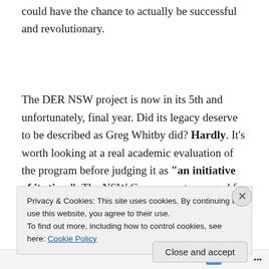could have the chance to actually be successful and revolutionary.
The DER NSW project is now in its 5th and unfortunately, final year. Did its legacy deserve to be described as Greg Whitby did? Hardly. It's worth looking at a real academic evaluation of the program before judging it as "an initiative of its time". The NSW Government arranged for
Privacy & Cookies: This site uses cookies. By continuing to use this website, you agree to their use.
To find out more, including how to control cookies, see here: Cookie Policy
Close and accept
Follow ...